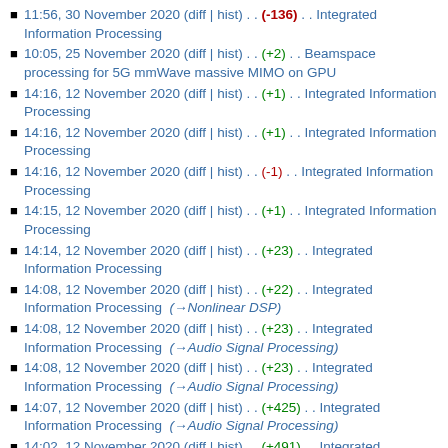11:56, 30 November 2020 (diff | hist) . . (-136) . . Integrated Information Processing
10:05, 25 November 2020 (diff | hist) . . (+2) . . Beamspace processing for 5G mmWave massive MIMO on GPU
14:16, 12 November 2020 (diff | hist) . . (+1) . . Integrated Information Processing
14:16, 12 November 2020 (diff | hist) . . (+1) . . Integrated Information Processing
14:16, 12 November 2020 (diff | hist) . . (-1) . . Integrated Information Processing
14:15, 12 November 2020 (diff | hist) . . (+1) . . Integrated Information Processing
14:14, 12 November 2020 (diff | hist) . . (+23) . . Integrated Information Processing
14:08, 12 November 2020 (diff | hist) . . (+22) . . Integrated Information Processing (→Nonlinear DSP)
14:08, 12 November 2020 (diff | hist) . . (+23) . . Integrated Information Processing (→Audio Signal Processing)
14:08, 12 November 2020 (diff | hist) . . (+23) . . Integrated Information Processing (→Audio Signal Processing)
14:07, 12 November 2020 (diff | hist) . . (+425) . . Integrated Information Processing (→Audio Signal Processing)
14:02, 12 November 2020 (diff | hist) . . (+491) . . Integrated Information Processing (→Real-Time Optimization)
13:56, 12 November 2020 (diff | hist) . . (+22) . . Integrated Information Processing
13:56, 12 November 2020 (diff | hist) . . (+22) . . Integrated Information Processing (→Nonlinear DSP)
13:56, 12 November 2020 (diff | hist) . . (+518) . . Integrated